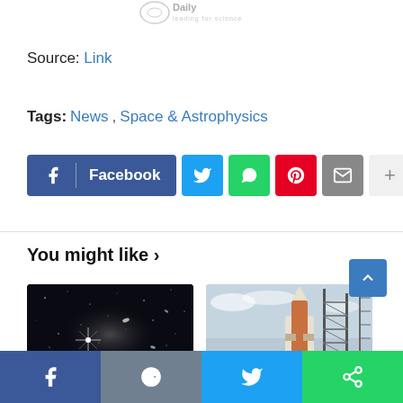[Figure (logo): DailyAct logo with tagline, faded gray]
Source: Link
Tags: News, Space & Astrophysics
[Figure (infographic): Social share buttons: Facebook, Twitter, WhatsApp, Pinterest, Email, More (+)]
You might like ›
[Figure (photo): Deep space star field, dark background with bright stars and galaxies]
[Figure (photo): Rocket on launch pad with scaffolding tower, overcast sky]
[Figure (infographic): Bottom share bar with Facebook, Reddit, Twitter, and share icons]